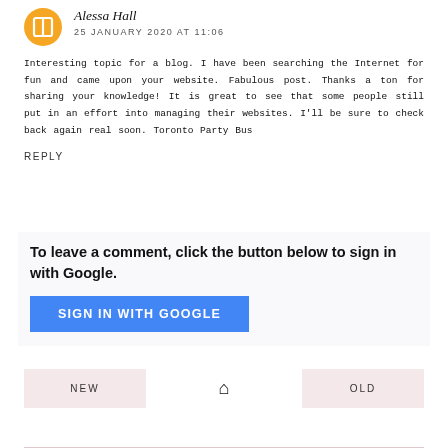Alessa Hall
25 JANUARY 2020 AT 11:06
Interesting topic for a blog. I have been searching the Internet for fun and came upon your website. Fabulous post. Thanks a ton for sharing your knowledge! It is great to see that some people still put in an effort into managing their websites. I'll be sure to check back again real soon. Toronto Party Bus
REPLY
To leave a comment, click the button below to sign in with Google.
SIGN IN WITH GOOGLE
NEW
OLD